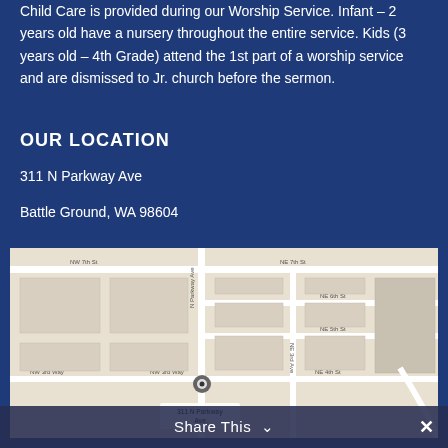Child Care is provided during our Worship Service. Infant – 2 years old have a nursery throughout the entire service. Kids (3 years old – 4th Grade) attend the 1st part of a worship service and are dismissed to Jr. church before the sermon.
OUR LOCATION
311 N Parkway Ave
Battle Ground, WA 98604
[Figure (map): Street map showing 311 N Parkway Ave, Battle Ground, WA. Shows NW 7th St, NE 7th St, NE 6th St, NE 5th St, NE 4th St, NW 3rd Way, N Parkway Ave, NE 3rd Ave. A location pin marks 311 N Parkway Ave.]
Share This